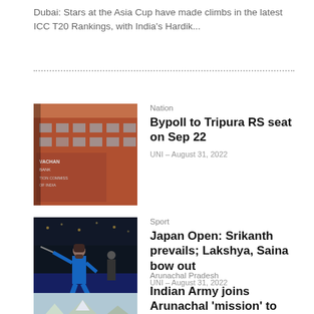Dubai: Stars at the Asia Cup have made climbs in the latest ICC T20 Rankings, with India's Hardik...
[Figure (photo): Election Commission of India building facade, red brick structure with text signs]
Nation
Bypoll to Tripura RS seat on Sep 22
UNI – August 31, 2022
[Figure (photo): Badminton player Srikanth in blue outfit on court]
Sport
Japan Open: Srikanth prevails; Lakshya, Saina bow out
UNI – August 31, 2022
[Figure (photo): Mountain landscape with person, Arunachal Pradesh]
Arunachal Pradesh
Indian Army joins Arunachal 'mission' to trace 'missing' Everester Tapi Mra